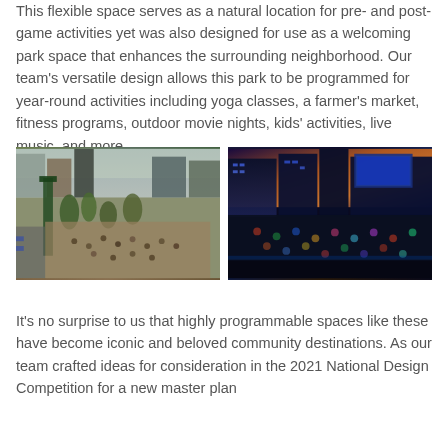This flexible space serves as a natural location for pre- and post-game activities yet was also designed for use as a welcoming park space that enhances the surrounding neighborhood. Our team's versatile design allows this park to be programmed for year-round activities including yoga classes, a farmer's market, fitness programs, outdoor movie nights, kids' activities, live music, and more.
[Figure (photo): Aerial daytime view of a busy outdoor plaza/park space near a stadium with crowds of people, trees, and urban buildings]
[Figure (photo): Nighttime aerial view of an illuminated outdoor plaza/event space with large crowds and a scoreboard or large screen in background, with colorful sunset sky]
It's no surprise to us that highly programmable spaces like these have become iconic and beloved community destinations. As our team crafted ideas for consideration in the 2021 National Design Competition for a new master plan